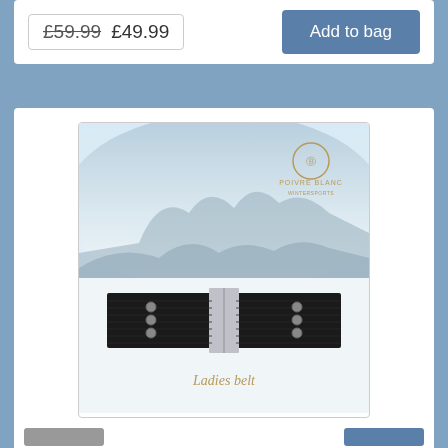£59.99  £49.99
Add to bag
[Figure (photo): Product photo of Poivre Blanc ladies belt - Black, showing a black jacquard elastic belt with metal buckle and decorative rivets, against a snowy mountain background. The Poivre Blanc logo is visible in the top right corner with the text 'Ladies belt' in italic below the belt.]
Poivre Blanc ladies belt - Black
Stylish ladies belt from French ski wear designers Poivre Blanc. Jacquard elastic belt with a metal buckle and decorative rivets…
Manufacturer:  Poivre Blanc